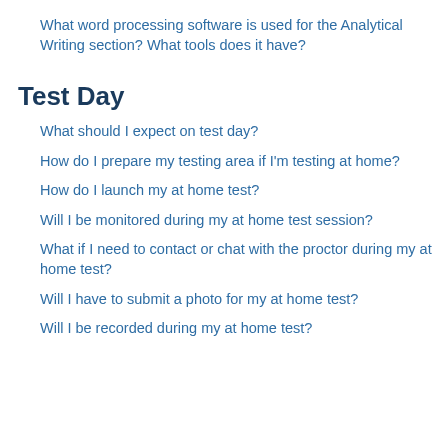What word processing software is used for the Analytical Writing section? What tools does it have?
Test Day
What should I expect on test day?
How do I prepare my testing area if I'm testing at home?
How do I launch my at home test?
Will I be monitored during my at home test session?
What if I need to contact or chat with the proctor during my at home test?
Will I have to submit a photo for my at home test?
Will I be recorded during my at home test?